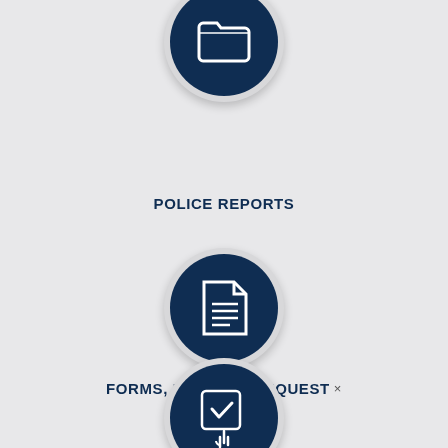[Figure (infographic): Dark navy circular icon button with white folder icon, partially visible at top of page]
POLICE REPORTS
[Figure (infographic): Dark navy circular icon button with white document/form icon]
FORMS, PERMITS, REQUEST ×
[Figure (infographic): White speech bubble with text 'Questions?' and a green robot chatbot icon in the bottom-right corner]
[Figure (infographic): Dark navy circular icon button with white clipboard/checkmark icon, partially visible at bottom of page]